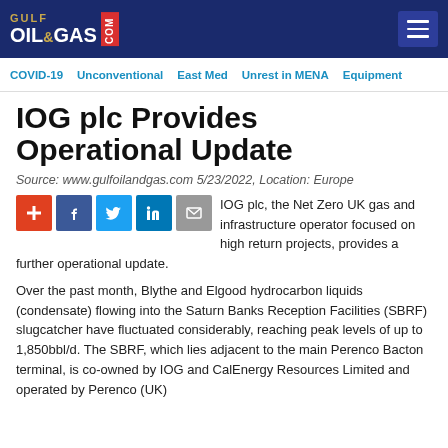Gulf Oil & Gas .com
COVID-19 | Unconventional | East Med | Unrest in MENA | Equipment
IOG plc Provides Operational Update
Source: www.gulfoilandgas.com 5/23/2022, Location: Europe
[Figure (other): Social sharing icons: plus, Facebook, Twitter, LinkedIn, email]
IOG plc, the Net Zero UK gas and infrastructure operator focused on high return projects, provides a further operational update.
Over the past month, Blythe and Elgood hydrocarbon liquids (condensate) flowing into the Saturn Banks Reception Facilities (SBRF) slugcatcher have fluctuated considerably, reaching peak levels of up to 1,850bbl/d. The SBRF, which lies adjacent to the main Perenco Bacton terminal, is co-owned by IOG and CalEnergy Resources Limited and operated by Perenco (UK)